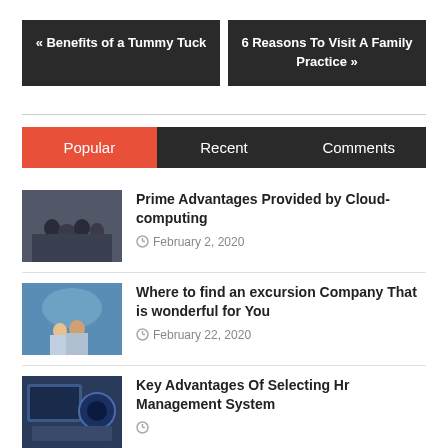« Benefits of a Tummy Tuck
6 Reasons To Visit A Family Practice »
Popular | Recent | Comments
Prime Advantages Provided by Cloud-computing
February 2, 2020
Where to find an excursion Company That is wonderful for You
February 22, 2020
Key Advantages Of Selecting Hr Management System